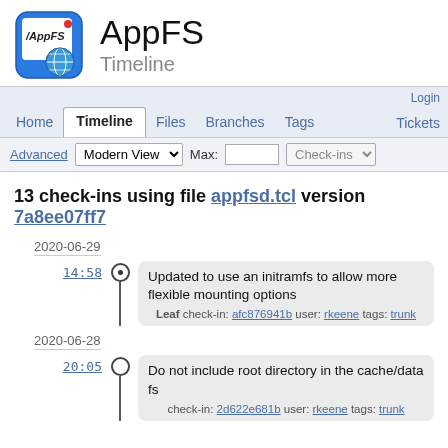[Figure (logo): AppFS logo: blue rounded square icon with /AppFS text and globe, next to title AppFS and subtitle Timeline]
AppFS
Timeline
Home | Timeline | Files | Branches | Tags | Login | Tickets
Advanced | Modern View | Max: | Check-ins
13 check-ins using file appfsd.tcl version 7a8ee07ff7
2020-06-29
14:58
Updated to use an initramfs to allow more flexible mounting options
Leaf check-in: afc876941b user: rkeene tags: trunk
2020-06-28
20:05
Do not include root directory in the cache/data fs
check-in: 2d622e681b user: rkeene tags: trunk